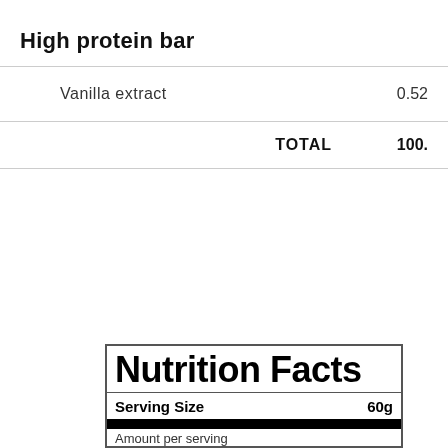High protein bar
| Ingredient | Amount |
| --- | --- |
| Vanilla extract | 0.52 |
| TOTAL | 100. |
[Figure (other): Nutrition Facts label showing Serving Size 60g with a thick black bar and partial calories row at bottom]